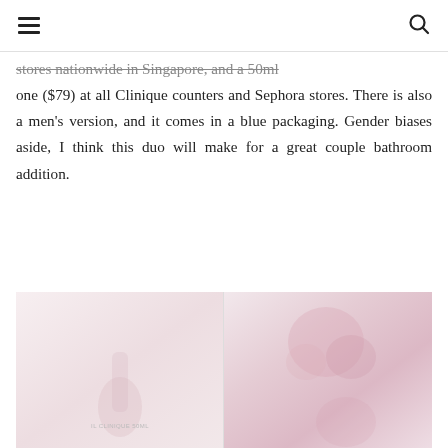[hamburger menu icon] [search icon]
stores nationwide in Singapore, and a 50ml one ($79) at all Clinique counters and Sephora stores. There is also a men's version, and it comes in a blue packaging. Gender biases aside, I think this duo will make for a great couple bathroom addition.
[Figure (photo): Two-panel beauty product photo. Left panel shows faint pink/white product image with a small label text. Right panel shows blurred pink rose or floral/product image.]